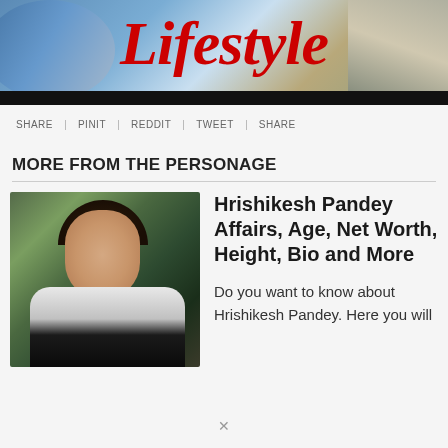[Figure (photo): Lifestyle magazine header banner with a woman in blue jeans, red italic 'Lifestyle' logo in the center, black bar at bottom]
SHARE | PINIT | REDDIT | TWEET | SHARE
MORE FROM THE PERSONAGE
[Figure (photo): Portrait photo of Hrishikesh Pandey, a man with dark hair wearing a white and black jacket, with greenery in the background]
Hrishikesh Pandey Affairs, Age, Net Worth, Height, Bio and More
Do you want to know about Hrishikesh Pandey. Here you will